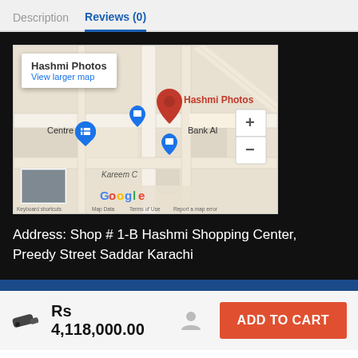Description   Reviews (0)
[Figure (map): Google Maps screenshot showing location of Hashmi Photos on Preedy Street Saddar Karachi, with a red location pin marker and blue shopping location pins nearby. Shows Centre, Bank Al, Kareem C labels. Popup shows 'Hashmi Photos' and 'View larger map' link.]
Address: Shop # 1-B Hashmi Shopping Center, Preedy Street Saddar Karachi
Rs 4,118,000.00
ADD TO CART